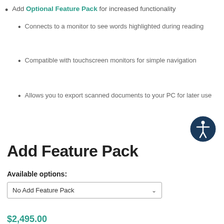Add Optional Feature Pack for increased functionality
Connects to a monitor to see words highlighted during reading
Compatible with touchscreen monitors for simple navigation
Allows you to export scanned documents to your PC for later use
[Figure (illustration): Accessibility icon — white person with arms outstretched in a circle on a dark blue background]
Add Feature Pack
Available options:
No Add Feature Pack
$2,495.00